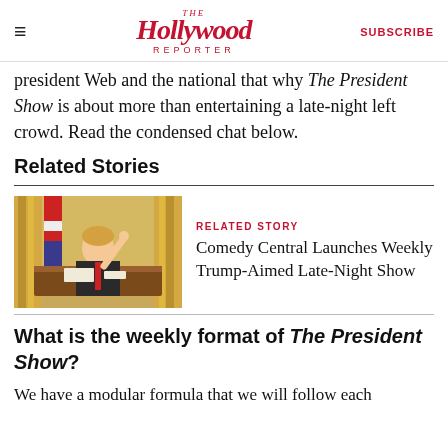The Hollywood Reporter | SUBSCRIBE
President Web and the national that why The President Show is about more than entertaining a late-night left crowd. Read the condensed chat below.
Related Stories
[Figure (photo): Photo of a man dressed as Donald Trump sitting at a desk in an Oval Office set, pointing upward with one finger, with golden drapes and an American flag in the background.]
RELATED STORY
Comedy Central Launches Weekly Trump-Aimed Late-Night Show
What is the weekly format of The President Show?
We have a modular formula that we will follow each